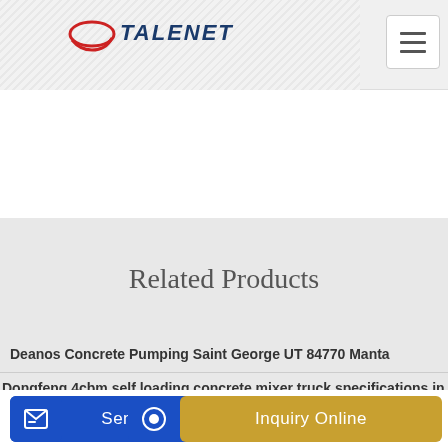TALENET
Related Products
Deanos Concrete Pumping Saint George UT 84770 Manta
Dongfeng 4cbm self loading concrete mixer truck specifications in sri
Send Message
Inquiry Online